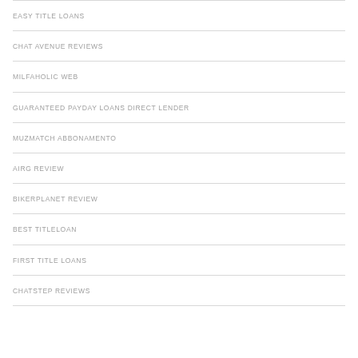EASY TITLE LOANS
CHAT AVENUE REVIEWS
MILFAHOLIC WEB
GUARANTEED PAYDAY LOANS DIRECT LENDER
MUZMATCH ABBONAMENTO
AIRG REVIEW
BIKERPLANET REVIEW
BEST TITLELOAN
FIRST TITLE LOANS
CHATSTEP REVIEWS